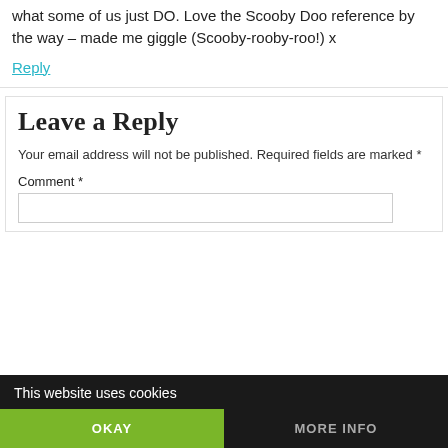what some of us just DO. Love the Scooby Doo reference by the way – made me giggle (Scooby-rooby-roo!) x
Reply
Leave a Reply
Your email address will not be published. Required fields are marked *
Comment *
This website uses cookies
OKAY
MORE INFO